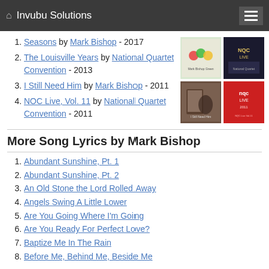Invubu Solutions
Seasons by Mark Bishop - 2017
The Louisville Years by National Quartet Convention - 2013
I Still Need Him by Mark Bishop - 2011
NOC Live, Vol. 11 by National Quartet Convention - 2011
[Figure (other): Four album cover thumbnails arranged in a 2x2 grid]
More Song Lyrics by Mark Bishop
Abundant Sunshine, Pt. 1
Abundant Sunshine, Pt. 2
An Old Stone the Lord Rolled Away
Angels Swing A Little Lower
Are You Going Where I'm Going
Are You Ready For Perfect Love?
Baptize Me In The Rain
Before Me, Behind Me, Beside Me